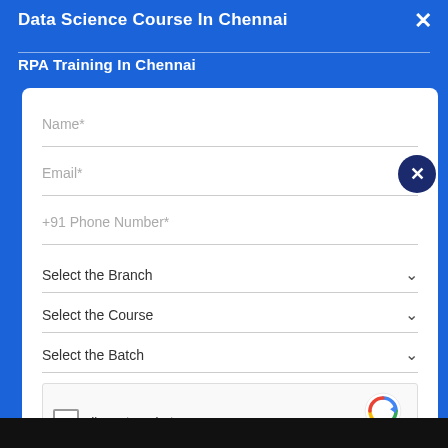Data Science Course In Chennai
RPA Training In Chennai
Name*
Email*
+91 Phone Number*
Select the Branch
Select the Course
Select the Batch
I'm not a robot